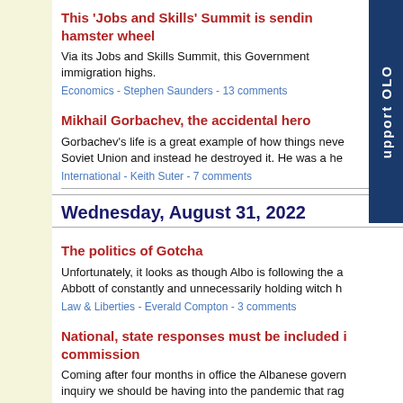This 'Jobs and Skills' Summit is sending hamster wheel
Via its Jobs and Skills Summit, this Government immigration highs.
Economics - Stephen Saunders - 13 comments
Mikhail Gorbachev, the accidental hero
Gorbachev's life is a great example of how things neve Soviet Union and instead he destroyed it. He was a he
International - Keith Suter - 7 comments
Wednesday, August 31, 2022
The politics of Gotcha
Unfortunately, it looks as though Albo is following the a Abbott of constantly and unnecessarily holding witch h
Law & Liberties - Everald Compton - 3 comments
National, state responses must be included i commission
Coming after four months in office the Albanese govern inquiry we should be having into the pandemic that rag
Domestic Politics - Scott Prasser - 3 comments